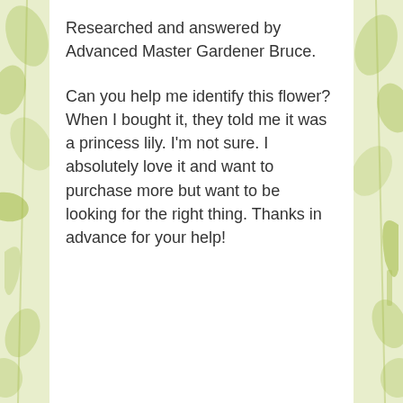Researched and answered by Advanced Master Gardener Bruce.
Can you help me identify this flower? When I bought it, they told me it was a princess lily. I'm not sure. I absolutely love it and want to purchase more but want to be looking for the right thing. Thanks in advance for your help!